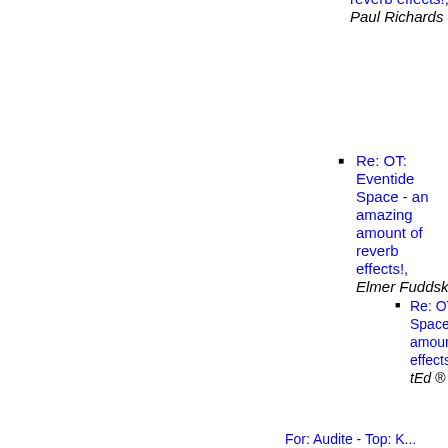reverb effects!, Paul Richards
Re: OT: Eventide Space - an amazing amount of reverb effects!, Elmer Fuddski
Re: OT: Eventide Space - an amazing amount of reverb effects!, tEd ® KiLLiAn
For: Audite - Top: K...